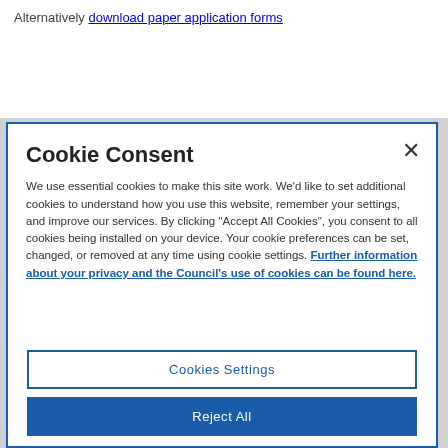Alternatively download paper application forms
Cookie Consent
We use essential cookies to make this site work. We'd like to set additional cookies to understand how you use this website, remember your settings, and improve our services. By clicking "Accept All Cookies", you consent to all cookies being installed on your device. Your cookie preferences can be set, changed, or removed at any time using cookie settings. Further information about your privacy and the Council's use of cookies can be found here.
Cookies Settings
Reject All